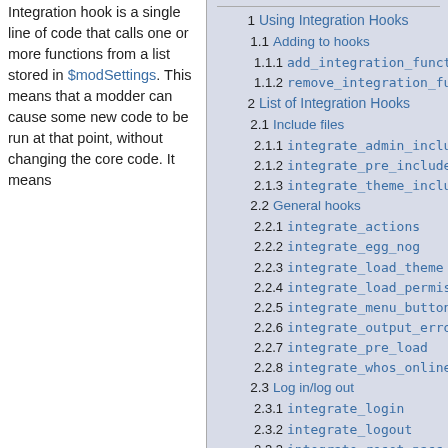Integration hook is a single line of code that calls one or more functions from a list stored in $modSettings. This means that a modder can cause some new code to be run at that point, without changing the core code. It means
1 Using Integration Hooks
1.1 Adding to hooks
1.1.1 add_integration_function
1.1.2 remove_integration_function
2 List of Integration Hooks
2.1 Include files
2.1.1 integrate_admin_include
2.1.2 integrate_pre_include
2.1.3 integrate_theme_include
2.2 General hooks
2.2.1 integrate_actions
2.2.2 integrate_egg_nog
2.2.3 integrate_load_theme
2.2.4 integrate_load_permissions
2.2.5 integrate_menu_buttons
2.2.6 integrate_output_error
2.2.7 integrate_pre_load
2.2.8 integrate_whos_online
2.3 Log in/log out
2.3.1 integrate_login
2.3.2 integrate_logout
2.3.3 integrate_reset_pass